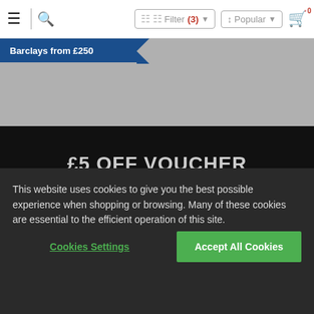☰ | 🔍  Filter (3) ↕ Popular  🛒 0
Barclays from £250
† Eligibility criteria applies
£5 OFF VOUCHER
Sign up to our newsletter
Your email address
Sign Up
Get all the latest deals and special offers, first.
This website uses cookies to give you the best possible experience when shopping or browsing. Many of these cookies are essential to the efficient operation of this site.
Cookies Settings
Accept All Cookies